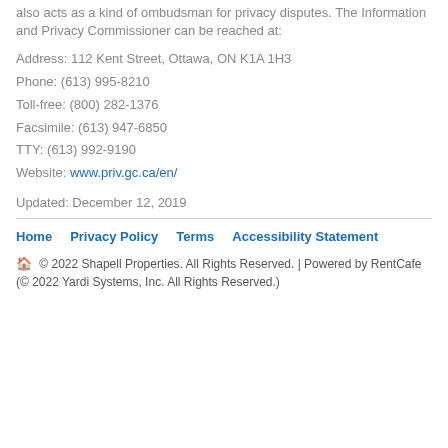also acts as a kind of ombudsman for privacy disputes. The Information and Privacy Commissioner can be reached at:
Address: 112 Kent Street, Ottawa, ON K1A 1H3
Phone: (613) 995-8210
Toll-free: (800) 282-1376
Facsimile: (613) 947-6850
TTY: (613) 992-9190
Website: www.priv.gc.ca/en/
Updated: December 12, 2019
Home    Privacy Policy    Terms    Accessibility Statement
🏠 © 2022 Shapell Properties. All Rights Reserved. | Powered by RentCafe (© 2022 Yardi Systems, Inc. All Rights Reserved.)